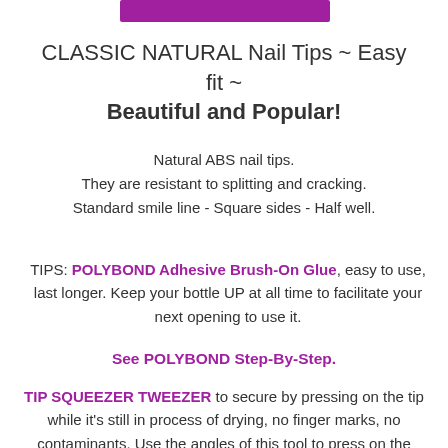[Figure (other): Purple decorative bar at top]
CLASSIC NATURAL Nail Tips ~ Easy fit ~ Beautiful and Popular!
Natural ABS nail tips.
They are resistant to splitting and cracking.
Standard smile line - Square sides - Half well.
TIPS: POLYBOND Adhesive Brush-On Glue, easy to use, last longer. Keep your bottle UP at all time to facilitate your next opening to use it.
See POLYBOND Step-By-Step.
TIP SQUEEZER TWEEZER to secure by pressing on the tip while it's still in process of drying, no finger marks, no contaminants. Use the angles of this tool to press on the